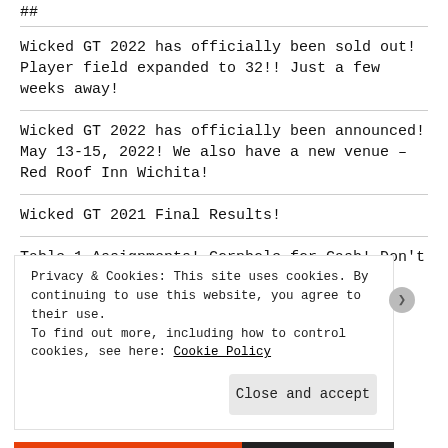Wicked GT 2022 has officially been sold out! Player field expanded to 32!! Just a few weeks away!
Wicked GT 2022 has officially been announced! May 13-15, 2022! We also have a new venue – Red Roof Inn Wichita!
Wicked GT 2021 Final Results!
Table 1 Assignments! Cornhole for Cash! Don't forget lists are due April 30!
Privacy & Cookies: This site uses cookies. By continuing to use this website, you agree to their use.
To find out more, including how to control cookies, see here: Cookie Policy